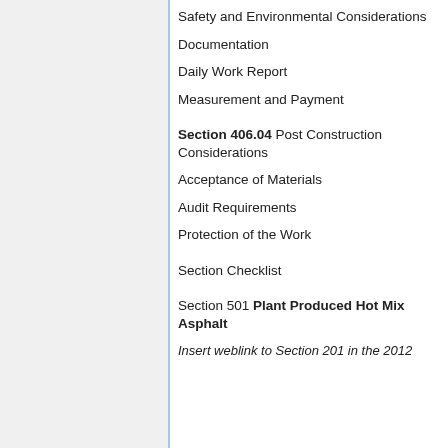Safety and Environmental Considerations
Documentation
Daily Work Report
Measurement and Payment
Section 406.04 Post Construction Considerations
Acceptance of Materials
Audit Requirements
Protection of the Work
Section Checklist
Section 501 Plant Produced Hot Mix Asphalt
Insert weblink to Section 201 in the 2012